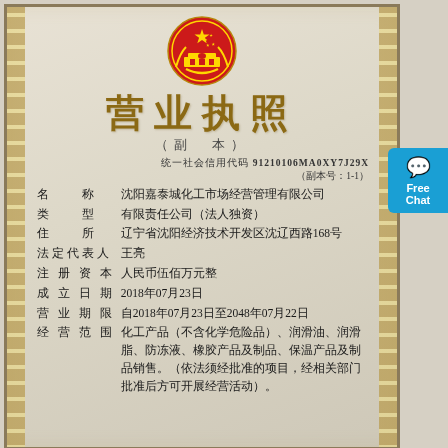[Figure (logo): Chinese national emblem — red circle with gold star and Tiananmen gate]
营业执照
（副　本）
统一社会信用代码 91210106MA0XY7J29X
（副本号：1-1）
| 名　　称 | 沈阳嘉泰城化工市场经营管理有限公司 |
| 类　　型 | 有限责任公司（法人独资） |
| 住　　所 | 辽宁省沈阳经济技术开发区沈辽西路168号 |
| 法定代表人 | 王亮 |
| 注 册 资 本 | 人民币伍佰万元整 |
| 成 立 日 期 | 2018年07月23日 |
| 营 业 期 限 | 自2018年07月23日至2048年07月22日 |
| 经 营 范 围 | 化工产品（不含化学危险品）、润滑油、润滑脂、防冻液、橡胶产品及制品、保温产品及制品销售。（依法须经批准的项目，经相关部门批准后方可开展经营活动）。 |